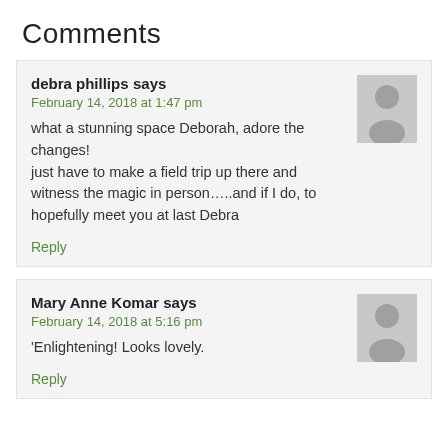Comments
debra phillips says
February 14, 2018 at 1:47 pm
what a stunning space Deborah, adore the changes!
just have to make a field trip up there and witness the magic in person…..and if I do, to hopefully meet you at last Debra
Reply
Mary Anne Komar says
February 14, 2018 at 5:16 pm
'Enlightening! Looks lovely.
Reply